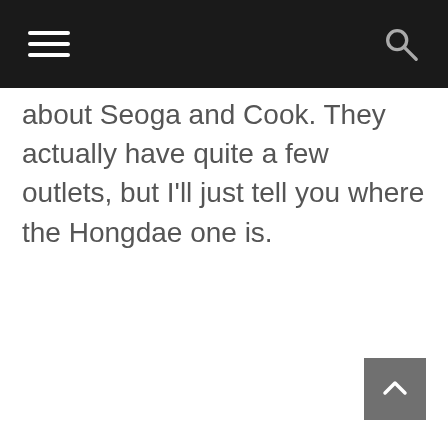about Seoga and Cook. They actually have quite a few outlets, but I'll just tell you where the Hongdae one is.